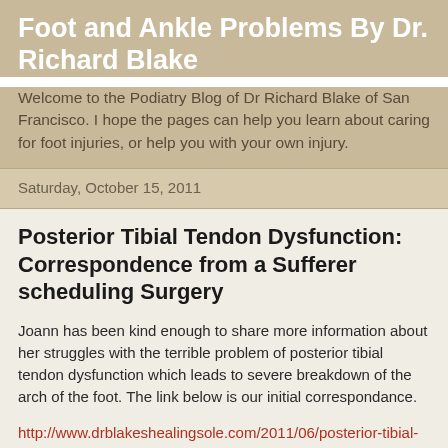Foot and Ankle Problems By Dr. Richard Blake
Welcome to the Podiatry Blog of Dr Richard Blake of San Francisco. I hope the pages can help you learn about caring for foot injuries, or help you with your own injury.
Saturday, October 15, 2011
Posterior Tibial Tendon Dysfunction: Correspondence from a Sufferer scheduling Surgery
Joann has been kind enough to share more information about her struggles with the terrible problem of posterior tibial tendon dysfunction which leads to severe breakdown of the arch of the foot. The link below is our initial correspondance.
http://www.drblakeshealingsole.com/2011/06/posterior-tibial-tendon-dysfunction.html